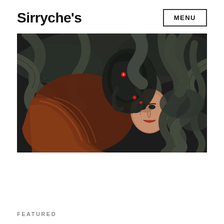Sirryche's
MENU
[Figure (illustration): Dark fantasy digital illustration showing a woman with red/auburn hair lying down surrounded by dark serpentine snake-like creatures. A figure in black armor or exoskeleton with red eyes is positioned above her face. The scene is detailed and dramatic with coiling dark scaled forms filling the frame.]
FEATURED